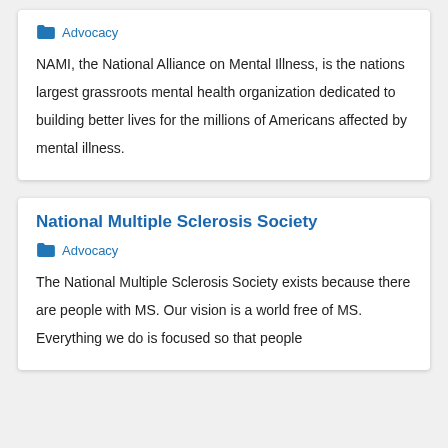Advocacy
NAMI, the National Alliance on Mental Illness, is the nations largest grassroots mental health organization dedicated to building better lives for the millions of Americans affected by mental illness.
National Multiple Sclerosis Society
Advocacy
The National Multiple Sclerosis Society exists because there are people with MS. Our vision is a world free of MS. Everything we do is focused so that people